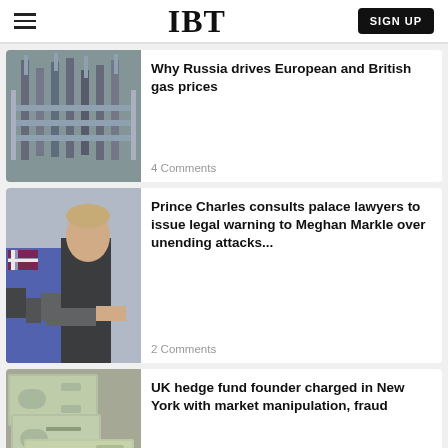IBT | SIGN UP
[Figure (photo): Industrial gas pipes and infrastructure]
Why Russia drives European and British gas prices
4 Comments
[Figure (photo): Prince Charles shaking hands with people holding Union Jack flags]
Prince Charles consults palace lawyers to issue legal warning to Meghan Markle over unending attacks...
2 Comments
[Figure (photo): US dollar bills spread out]
UK hedge fund founder charged in New York with market manipulation, fraud
2 Comments
[Figure (photo): Partial image — red toned, partially visible at bottom]